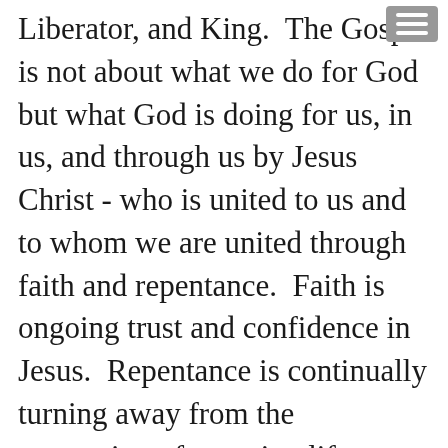Liberator, and King.  The Gospel is not about what we do for God but what God is doing for us, in us, and through us by Jesus Christ - who is united to us and to whom we are united through faith and repentance.  Faith is ongoing trust and confidence in Jesus.  Repentance is continually turning away from the temptation of pursuing life apart from Jesus Christ.  Union with Jesus Christ is vividly demonstrated, enacted,